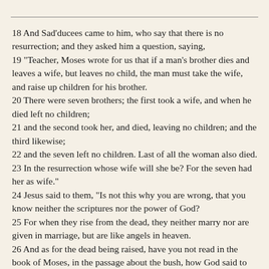18 And Sad'ducees came to him, who say that there is no resurrection; and they asked him a question, saying, 19 "Teacher, Moses wrote for us that if a man's brother dies and leaves a wife, but leaves no child, the man must take the wife, and raise up children for his brother. 20 There were seven brothers; the first took a wife, and when he died left no children; 21 and the second took her, and died, leaving no children; and the third likewise; 22 and the seven left no children. Last of all the woman also died. 23 In the resurrection whose wife will she be? For the seven had her as wife." 24 Jesus said to them, "Is not this why you are wrong, that you know neither the scriptures nor the power of God? 25 For when they rise from the dead, they neither marry nor are given in marriage, but are like angels in heaven. 26 And as for the dead being raised, have you not read in the book of Moses, in the passage about the bush, how God said to him, `I am the God of Abraham, and the God of Isaac, and the God of Jacob'?